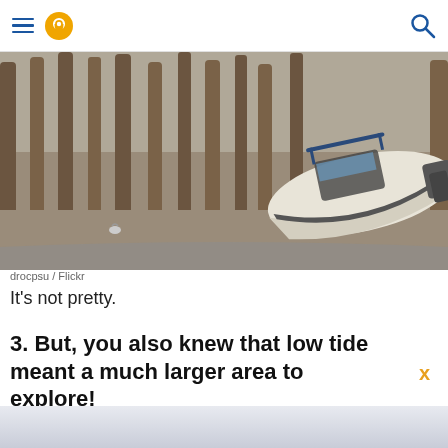Navigation header with hamburger menu, pin/location icon, and search icon
[Figure (photo): A motorboat tilted and stranded on a muddy beach at low tide, with wooden pier pilings in the background and a seagull in the foreground]
drocpsu / Flickr
It's not pretty.
3. But, you also knew that low tide meant a much larger area to explore!